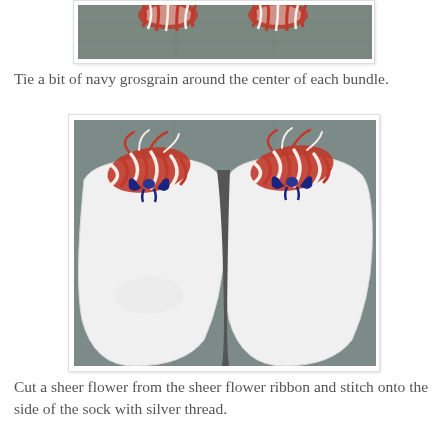[Figure (photo): Partial view of red and white twisted rope/yarn bundles from the previous step, cropped at top of page.]
Tie a bit of navy grosgrain around the center of each bundle.
[Figure (photo): Two white ankle socks placed side by side on a gray surface. Each sock has a bundle of red and white twisted rope/yarn tied at the top cuff with a small navy grosgrain ribbon bow.]
Cut a sheer flower from the sheer flower ribbon and stitch onto the side of the sock with silver thread.